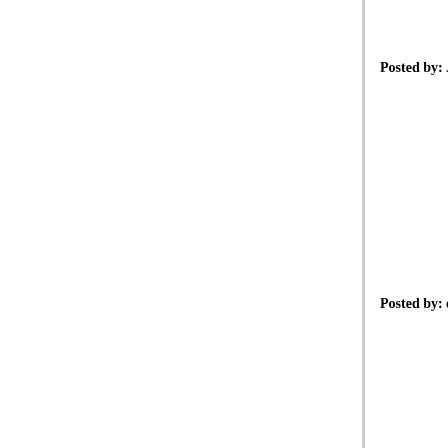legal/judicial matters.
Posted by: Jamey | June 07, 2009 at 04:24 PM
I'm not sure someone posting this:
"And don't feel sorry for Ed. He knows all this -- h legal credentials. He just enjoys playing the role o Anonymous Liberal pretty much captured it:"
Deserves anonymity. You want to criticize a dude
Posted by: dude | June 08, 2009 at 10:02 AM
"Deserves anonymity. You want to criticize a dude
I can't get over how many people are stupid enou sign them something like "dude."
It leaves me depressed over the state of humanity Simpsons were posting to the interwebs.
Posted by: Gary Farber | June 08, 2009 at 09:26 PM
Having been around the internet since before the